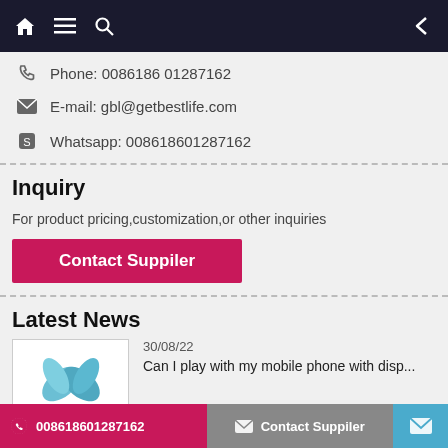Navigation bar with home, menu, search icons and back arrow
Phone: 0086186 01287162
E-mail: gbl@getbestlife.com
Whatsapp: 008618601287162
Inquiry
For product pricing,customization,or other inquiries
Contact Suppiler
Latest News
30/08/22
Can I play with my mobile phone with disp...
008618601287162  Contact Suppiler